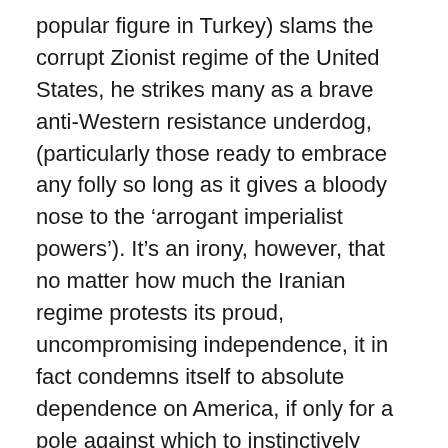popular figure in Turkey) slams the corrupt Zionist regime of the United States, he strikes many as a brave anti-Western resistance underdog, (particularly those ready to embrace any folly so long as it gives a bloody nose to the 'arrogant imperialist powers'). It's an irony, however, that no matter how much the Iranian regime protests its proud, uncompromising independence, it in fact condemns itself to absolute dependence on America, if only for a pole against which to instinctively define itself. The same can be said for much reflex criticism of U.S. policy.
Of course, global American power should always be robustly critiqued; but genuine, thoughtful criticism dissolves such shallow Manicheanism as displayed by Chomsky, Ahmedinejad, or 'Yeni Çağ'. Indeed, it would be nice to think that the self-abasing anti-Americanism of so much of the Turkish press will eventually be eclipsed by a